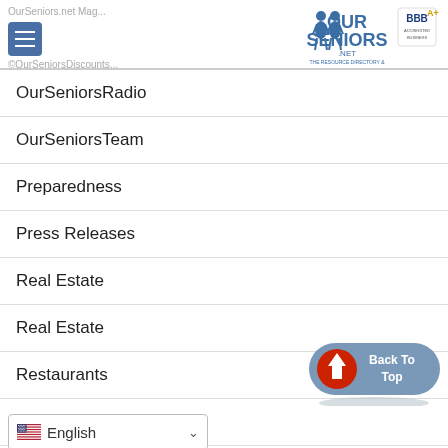OurSeniors.net Magazine | OurSeniorsDiscounts
[Figure (logo): OurSeniors.net logo with BBB A+ rating badge. Text reads: OUR SENIORS .NET - THE RESOURCE DIRECTORY & MAGAZINE FOR OUR SENIORS]
OurSeniorsRadio
OurSeniorsTeam
Preparedness
Press Releases
Real Estate
Real Estate
Restaurants
Restaurants
Retirement & Finance
Re...
[Figure (illustration): Back To Top button - blue pill-shaped button with red upward arrow icon and text 'Back To Top']
English (language selector dropdown)